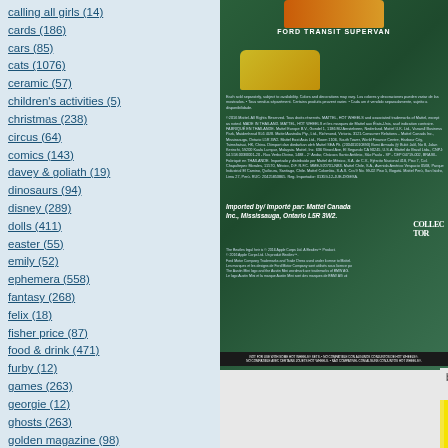calling all girls (14)
cards (186)
cars (85)
cats (1076)
ceramic (57)
children's activities (5)
christmas (238)
circus (64)
comics (143)
davey & goliath (19)
dinosaurs (94)
disney (289)
dolls (411)
easter (55)
emily (52)
ephemera (558)
fantasy (268)
felix (18)
fisher price (87)
food & drink (471)
furby (12)
games (263)
georgie (12)
ghosts (263)
golden magazine (98)
gumby (243)
halloween (331)
[Figure (photo): Back of a Hot Wheels Ford Transit Supervan collectible card packaging, showing product information, fine print, copyright notices, and imported by Mattel Canada Inc., Mississauga, Ontario L5R 3W2. Collectors logo visible.]
but then i went back the next day becau
[Figure (photo): Hot Wheels logo on yellow background - red Hot Wheels text in stylized italic font with flame design]